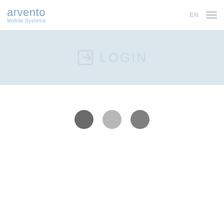[Figure (logo): Arvento Mobile Systems logo in light blue/grey tones]
EN
[Figure (other): Hamburger menu icon with three horizontal lines]
LOGIN
[Figure (other): Three loading spinner dots in shades of grey (dark, light, medium)]